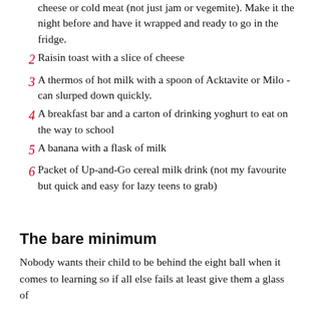cheese or cold meat (not just jam or vegemite). Make it the night before and have it wrapped and ready to go in the fridge.
2  Raisin toast with a slice of cheese
3  A thermos of hot milk with a spoon of Acktavite or Milo - can slurped down quickly.
4  A breakfast bar and a carton of drinking yoghurt to eat on the way to school
5  A banana with a flask of milk
6  Packet of Up-and-Go cereal milk drink (not my favourite but quick and easy for lazy teens to grab)
The bare minimum
Nobody wants their child to be behind the eight ball when it comes to learning so if all else fails at least give them a glass of